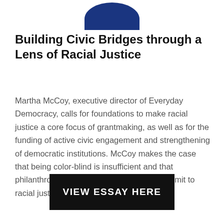[Figure (illustration): Partial blue rounded shape (top of a circular or oval form) visible at the top center of the page, representing a decorative graphic element.]
Building Civic Bridges through a Lens of Racial Justice
Martha McCoy, executive director of Everyday Democracy, calls for foundations to make racial justice a core focus of grantmaking, as well as for the funding of active civic engagement and strengthening of democratic institutions. McCoy makes the case that being color-blind is insufficient and that philanthropic institutions must explicitly commit to racial justice as they prioritize investments.
VIEW ESSAY HERE